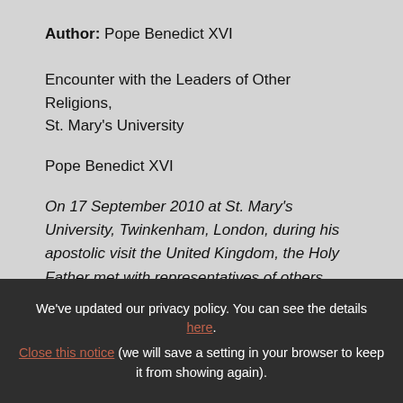Author: Pope Benedict XVI
Encounter with the Leaders of Other Religions, St. Mary's University
Pope Benedict XVI
On 17 September 2010 at St. Mary's University, Twinkenham, London, during his apostolic visit the United Kingdom, the Holy Father met with representatives of others religions in the
We've updated our privacy policy. You can see the details here. Close this notice (we will save a setting in your browser to keep it from showing again).